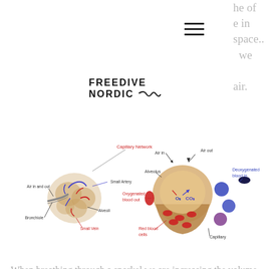he of
e in
space..
we
air.
[Figure (logo): Freedive Nordic logo with text FREEDIVE NORDIC and a wave underline]
[Figure (illustration): Two anatomical diagrams showing alveoli and capillary network with gas exchange labels including: Capillary Network, Small Artery, Alveoli, Bronchiole, Small Vein, Air in and out, Alveolus, Oxygenated blood out, Red blood cells, Air in, Air out, Deoxygenated blood in, O2, CO2, Capillary]
When breathing through a snorkel we are increasing the volume of the dead space (or the length of our airways) Should this total volume become too big, we would end up with a high concentration of CO2 in the inhaled air.